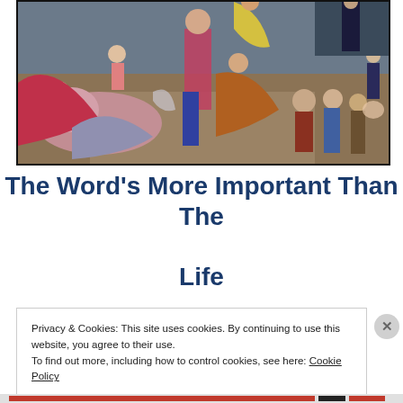[Figure (illustration): A Renaissance-style painting depicting multiple figures in classical robes and garments in a dramatic scene with steps and architecture in background]
The Word's More Important Than The Life
Privacy & Cookies: This site uses cookies. By continuing to use this website, you agree to their use.
To find out more, including how to control cookies, see here: Cookie Policy
Close and accept